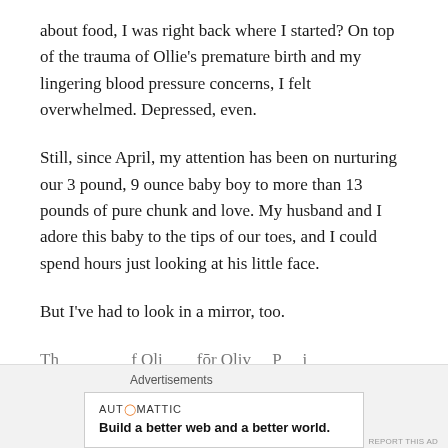about food, I was right back where I started? On top of the trauma of Ollie's premature birth and my lingering blood pressure concerns, I felt overwhelmed. Depressed, even.
Still, since April, my attention has been on nurturing our 3 pound, 9 ounce baby boy to more than 13 pounds of pure chunk and love. My husband and I adore this baby to the tips of our toes, and I could spend hours just looking at his little face.
But I've had to look in a mirror, too.
Th...
Advertisements
AUTOMATTIC
Build a better web and a better world.